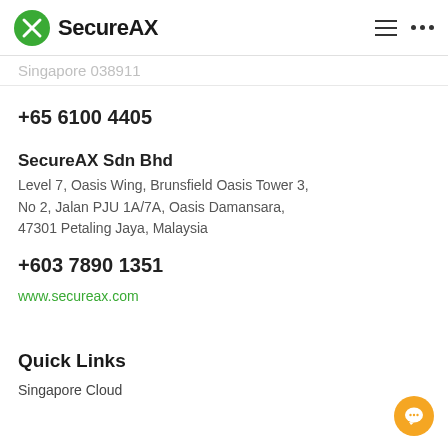SecureAX
Singapore 038911
+65 6100 4405
SecureAX Sdn Bhd
Level 7, Oasis Wing, Brunsfield Oasis Tower 3, No 2, Jalan PJU 1A/7A, Oasis Damansara, 47301 Petaling Jaya, Malaysia
+603 7890 1351
www.secureax.com
Quick Links
Singapore Cloud